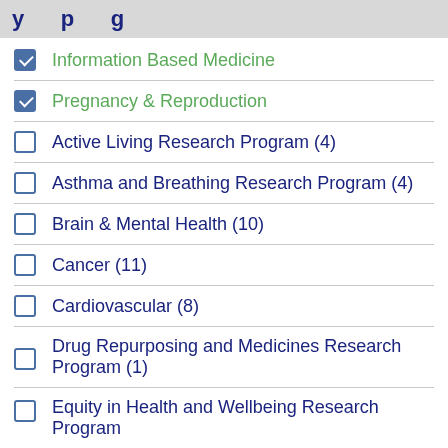y p g
Information Based Medicine
Pregnancy & Reproduction
Active Living Research Program (4)
Asthma and Breathing Research Program (4)
Brain & Mental Health (10)
Cancer (11)
Cardiovascular (8)
Drug Repurposing and Medicines Research Program (1)
Equity in Health and Wellbeing Research Program